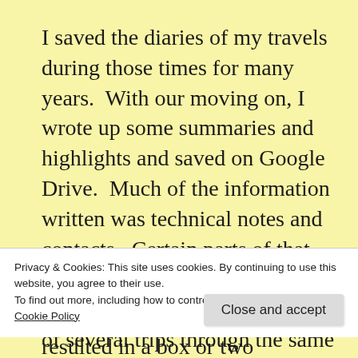I saved the diaries of my travels during those times for many years.  With our moving on, I wrote up some summaries and highlights and saved on Google Drive.  Much of the information written was technical notes and contacts.  Certain parts of that fourteen month trip are very vivid; other parts are just a mesh of several trips through the same areas.  My notes suggest I left Minnesota around 1 October 1980 and returned to my parents home
Privacy & Cookies: This site uses cookies. By continuing to use this website, you agree to their use.
To find out more, including how to control cookies, see here:
Cookie Policy
Close and accept
resulted in a box or two purloined in various